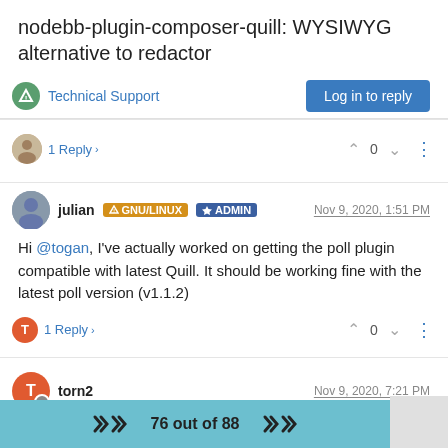nodebb-plugin-composer-quill: WYSIWYG alternative to redactor
Technical Support
Log in to reply
1 Reply > 0
julian GNU/LINUX ADMIN Nov 9, 2020, 1:51 PM
Hi @togan, I've actually worked on getting the poll plugin compatible with latest Quill. It should be working fine with the latest poll version (v1.1.2)
1 Reply > 0
torn2 Nov 9, 2020, 7:21 PM
76 out of 88